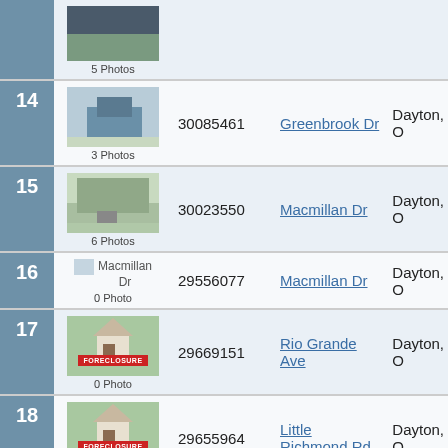| # | Photo | ID | Address | City |
| --- | --- | --- | --- | --- |
| (top partial) | 5 Photos |  |  |  |
| 14 | 3 Photos | 30085461 | Greenbrook Dr | Dayton, O |
| 15 | 6 Photos | 30023550 | Macmillan Dr | Dayton, O |
| 16 | 0 Photo | 29556077 | Macmillan Dr | Dayton, O |
| 17 | 0 Photo | 29669151 | Rio Grande Ave | Dayton, O |
| 18 | 0 Photo | 29655964 | Little Richmond Rd | Dayton, O |
| 19 | 0 Photo | 30069083 | Bromwick Dr | Dayton, O |